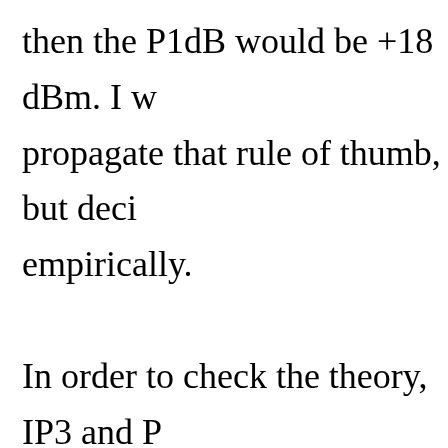then the P1dB would be +18 dBm. I w propagate that rule of thumb, but deci empirically. In order to check the theory, IP3 and P randomly chosen amplifiers and mixer Excel spreadsheet (see here). The com cross-section of silicon and GaAs; FE connectorized and surface mount devi standard deviation was calculated for w